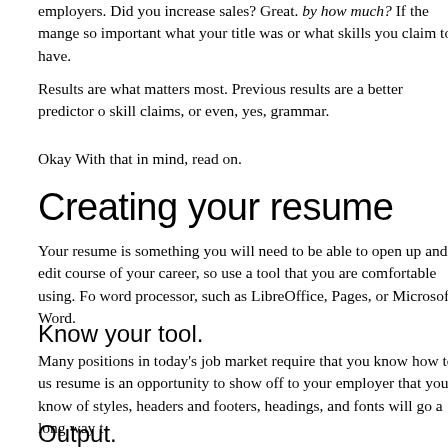employers. Did you increase sales? Great. by how much? If the mange so important what your title was or what skills you claim to have.
Results are what matters most. Previous results are a better predictor o skill claims, or even, yes, grammar.
Okay With that in mind, read on.
Creating your resume
Your resume is something you will need to be able to open up and edit course of your career, so use a tool that you are comfortable using. Fo word processor, such as LibreOffice, Pages, or Microsoft Word.
Know your tool.
Many positions in today's job market require that you know how to us resume is an opportunity to show off to your employer that you know of styles, headers and footers, headings, and fonts will go a long way t
Output.
When your resume is finished, you should output it in two formats: PD